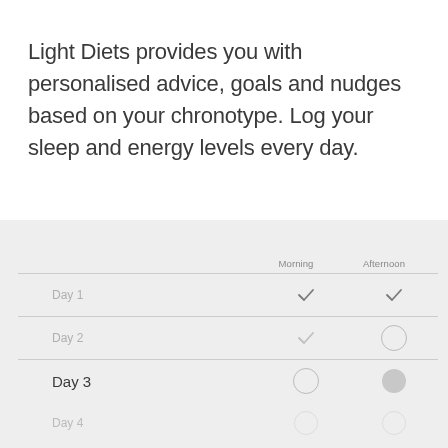Light Diets provides you with personalised advice, goals and nudges based on your chronotype. Log your sleep and energy levels every day.
|  | Morning | Afternoon |
| --- | --- | --- |
| Day 1 | ✓ | ✓ |
| Day 2 | ✓ | ○ |
| Day 3 | ○ | ● |
| Day 4 | ○ | ○ |
| Day 5 | ○ | ○ |